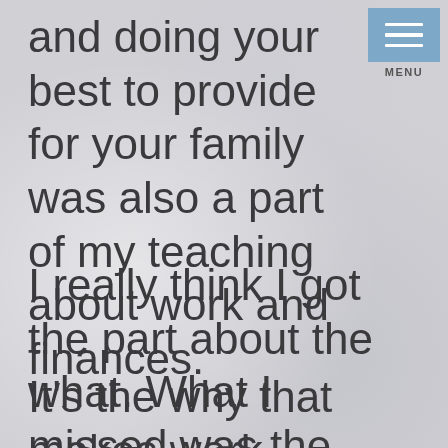and doing your best to provide for your family was also a part of my teaching about work and finances.
[Figure (other): Menu button icon with three horizontal white lines on a blue-grey background, with MENU label below]
I really think I got the part about the what. What I missed was the why.
It’s the why that makes work meaningful and significant.